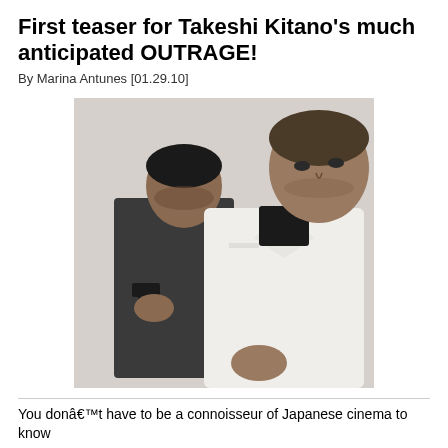First teaser for Takeshi Kitano's much anticipated OUTRAGE!
By Marina Antunes [01.29.10]
[Figure (photo): Movie still from OUTRAGE showing a man in a white suit in the foreground looking down, and another man in black holding a gun in the background. The image appears to be from a Japanese gangster film.]
You donât have to be a connoisseur of Japanese cinema to know